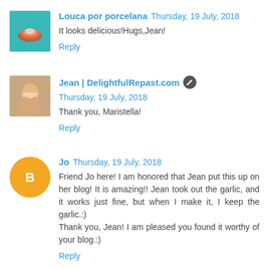[Figure (photo): Small square avatar image showing a teacup on a teal background]
Louca por porcelana Thursday, 19 July, 2018
It looks delicious!Hugs,Jean!
Reply
[Figure (photo): Small square avatar photo of a woman with blonde hair]
Jean | DelightfulRepast.com Thursday, 19 July, 2018
Thank you, Maristella!
Reply
[Figure (illustration): Orange circle Blogger avatar icon with white B letter]
Jo Thursday, 19 July, 2018
Friend Jo here! I am honored that Jean put this up on her blog! It is amazing!! Jean took out the garlic, and it works just fine, but when I make it, I keep the garlic.:)
Thank you, Jean! I am pleased you found it worthy of your blog.:)
Reply